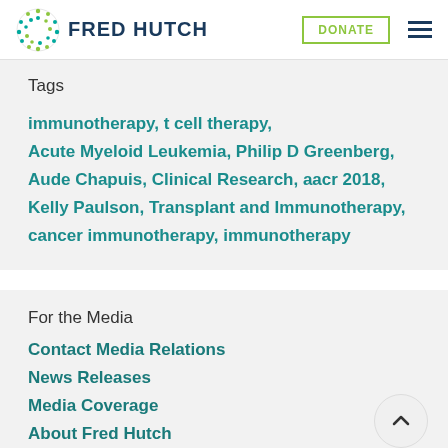FRED HUTCH
Tags
immunotherapy, t cell therapy, Acute Myeloid Leukemia, Philip D Greenberg, Aude Chapuis, Clinical Research, aacr 2018, Kelly Paulson, Transplant and Immunotherapy, cancer immunotherapy, immunotherapy
For the Media
Contact Media Relations
News Releases
Media Coverage
About Fred Hutch